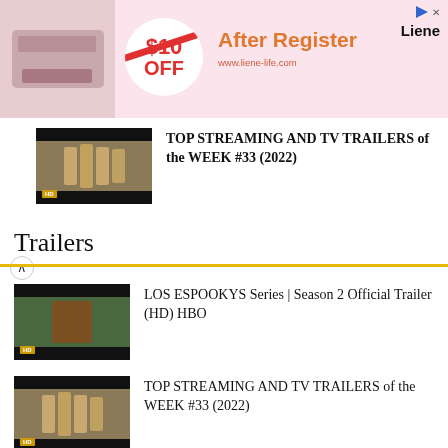[Figure (photo): Advertisement banner for Liene brand: pink background, product image on left, circle with '$10 OFF' text, 'After Register' text in orange, website URL, and Liene logo with close/sponsored icons]
[Figure (screenshot): Video thumbnail showing soldiers in military uniform, with HD badge, for 'TOP STREAMING AND TV TRAILERS of the WEEK #33 (2022)']
TOP STREAMING AND TV TRAILERS of the WEEK #33 (2022)
Trailers
[Figure (screenshot): Video thumbnail for LOS ESPOOKYS Series | Season 2 Official Trailer (HD) HBO, dark background with person]
LOS ESPOOKYS Series | Season 2 Official Trailer (HD) HBO
[Figure (screenshot): Video thumbnail showing soldiers in military uniform with HD badge for TOP STREAMING AND TV TRAILERS of the WEEK #33 (2022)]
TOP STREAMING AND TV TRAILERS of the WEEK #33 (2022)